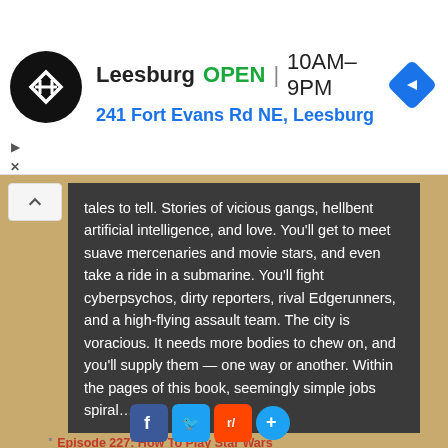[Figure (screenshot): Advertisement banner for a Leesburg store showing logo, OPEN status, hours 10AM-9PM, address 241 Fort Evans Rd NE Leesburg, and navigation icon]
tales to tell. Stories of vicious gangs, hellbent artificial intelligence, and love. You'll get to meet suave mercenaries and movie stars, and even take a ride in a submarine. You'll fight cyberpsychos, dirty reporters, rival Edgerunners, and a high-flying assault team. The city is voracious. It needs more bodies to chew on, and you'll supply them — one way or another. Within the pages of this book, seemingly simple jobs spiral… [...]
RECENT POSTS
Episode 227: How To Play Star Wars
Episode 226: The Rise of Skywalker Review and the Future of Star Wars
Video: The Rise of Skywalker Review and the Future of Star Wars
Episode 225: Se... oc... r Documentary